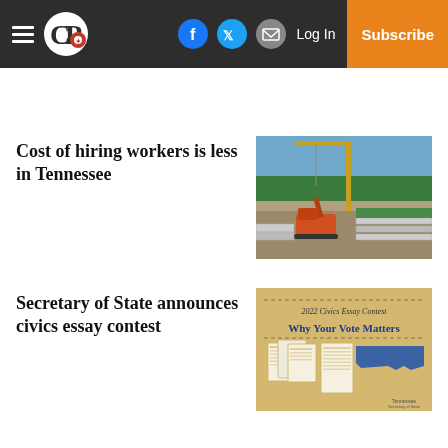CP — Log In | Subscribe
Cost of hiring workers is less in Tennessee
[Figure (photo): Aerial view of a construction site with a crane and excavation work on a road or bridge project, green trees in background.]
Secretary of State announces civics essay contest
[Figure (illustration): 2022 Civics Essay Contest promotional graphic. Text reads '2022 Civics Essay Contest — Why Your Vote Matters' on a tan/gold background with blue Tennessee state outline and illustrated ballot/voting cards.]